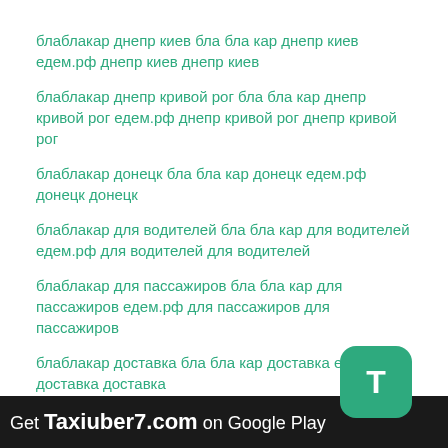блаблакар днепр киев бла бла кар днепр киев едем.рф днепр киев днепр киев
блаблакар днепр кривой рог бла бла кар днепр кривой рог едем.рф днепр кривой рог днепр кривой рог
блаблакар донецк бла бла кар донецк едем.рф донецк донецк
блаблакар для водителей бла бла кар для водителей едем.рф для водителей для водителей
блаблакар для пассажиров бла бла кар для пассажиров едем.рф для пассажиров для пассажиров
блаблакар доставка бла бла кар доставка едем.рф доставка доставка
блаблакар днепр павлоград одесса бла бла кар днепр павлоград одесса едем.рф днепр павлоград одесса
Get Taxiuber7.com on Google Play